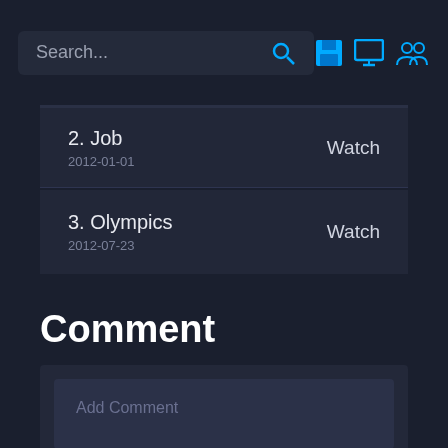Search...
2. Job
2012-01-01
Watch
3. Olympics
2012-07-23
Watch
Comment
Add Comment